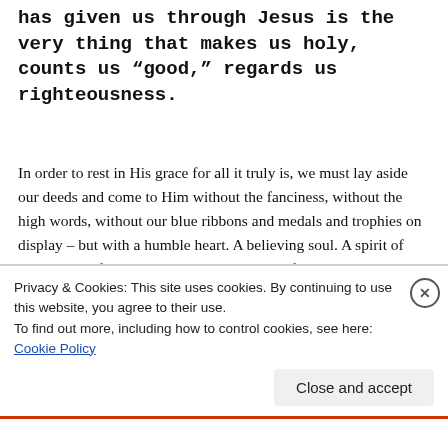has given us through Jesus is the very thing that makes us holy, counts us “good,” regards us righteousness.
In order to rest in His grace for all it truly is, we must lay aside our deeds and come to Him without the fanciness, without the high words, without our blue ribbons and medals and trophies on display – but with a humble heart. A believing soul. A spirit of acceptance of everything our God has done for us and an attitude of gratefulness.
Privacy & Cookies: This site uses cookies. By continuing to use this website, you agree to their use.
To find out more, including how to control cookies, see here: Cookie Policy
Close and accept